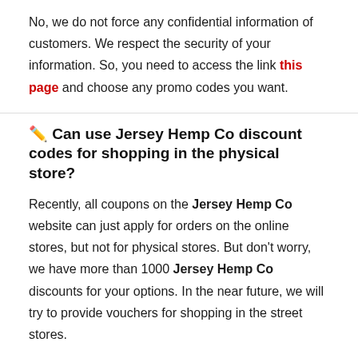No, we do not force any confidential information of customers. We respect the security of your information. So, you need to access the link this page and choose any promo codes you want.
✏️ Can use Jersey Hemp Co discount codes for shopping in the physical store?
Recently, all coupons on the Jersey Hemp Co website can just apply for orders on the online stores, but not for physical stores. But don't worry, we have more than 1000 Jersey Hemp Co discounts for your options. In the near future, we will try to provide vouchers for shopping in the street stores.